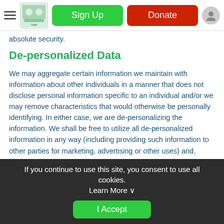[Figure (screenshot): Website navigation bar with hamburger menu, logo, green Sign Up button, red Donate button, and user profile icon]
absolute security.
De-personalized Data
We may aggregate certain information we maintain with information about other individuals in a manner that does not disclose personal information specific to an individual and/or we may remove characteristics that would otherwise be personally identifying. In either case, we are de-personalizing the information. We shall be free to utilize all de-personalized information in any way (including providing such information to other parties for marketing, advertising or other uses) and, unless otherwise required by law, de-personalized information shall not be bound by the terms of this Privacy Policy. As
If you continue to use this site, you consent to use all cookies. Learn More ∨
I Accept